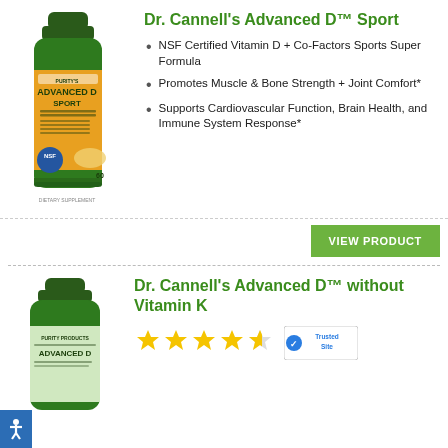[Figure (photo): Product bottle of Dr. Cannell's Advanced D Sport by Purity Products, green bottle with orange label, NSF certified, 60 capsules]
Dr. Cannell's Advanced D™ Sport
NSF Certified Vitamin D + Co-Factors Sports Super Formula
Promotes Muscle & Bone Strength + Joint Comfort*
Supports Cardiovascular Function, Brain Health, and Immune System Response*
VIEW PRODUCT
[Figure (photo): Product bottle of Dr. Cannell's Advanced D without Vitamin K by Purity Products, green bottle]
Dr. Cannell's Advanced D™ without Vitamin K
[Figure (other): 4 out of 5 stars rating]
[Figure (logo): TrustedSite badge]